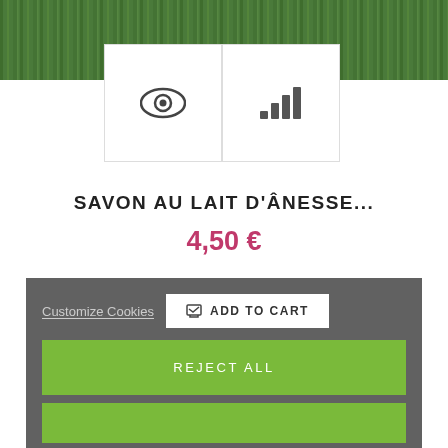[Figure (photo): Green grass background image at top]
[Figure (screenshot): Two thumbnail icon boxes: eye icon and bar chart/signal icon]
SAVON AU LAIT D'ÂNESSE...
4,50 €
[Figure (screenshot): Cookie consent overlay with grey background. Contains 'Customize Cookies' text link, 'ADD TO CART' button, 'REJECT ALL' green button, and another green button below.]
[Figure (photo): Product photo: soap bar on wooden surface with 'Anesse de l'Anon' branding, with purple chat bubble icon overlay]